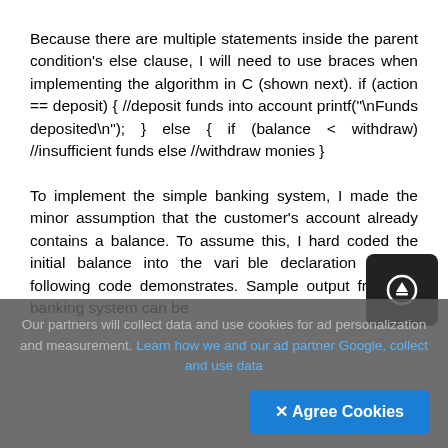Because there are multiple statements inside the parent condition's else clause, I will need to use braces when implementing the algorithm in C (shown next). if (action == deposit) { //deposit funds into account printf("\nFunds deposited\n"); } else { if (balance < withdraw) //insufficient funds else //withdraw monies }
To implement the simple banking system, I made the minor assumption that the customer's account already contains a balance. To assume this, I hard coded the initial balance into the variable declaration as the following code demonstrates. Sample output from the banking system can be
Our partners will collect data and use cookies for ad personalization and measurement. Learn how we and our ad partner Google, collect and use data